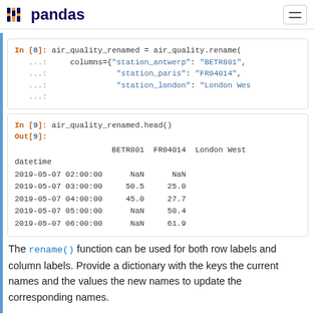pandas
[Figure (screenshot): Code cell In [8]: air_quality_renamed = air_quality.rename( ...  columns={"station_antwerp": "BETR801", ...  "station_paris": "FR04014", ...  "station_london": "London Wes ...]
[Figure (screenshot): Code cell In [9]: air_quality_renamed.head() with output table showing BETR801, FR04014, London West columns and datetime rows]
The rename() function can be used for both row labels and column labels. Provide a dictionary with the keys the current names and the values the new names to update the corresponding names.